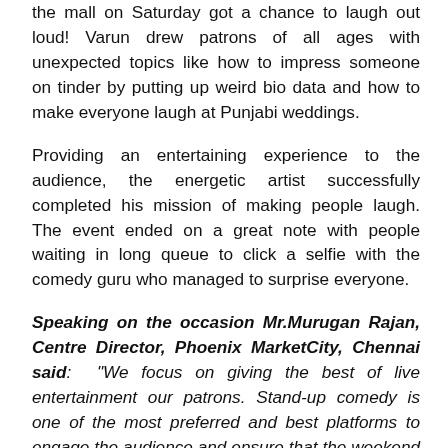the mall on Saturday got a chance to laugh out loud! Varun drew patrons of all ages with unexpected topics like how to impress someone on tinder by putting up weird bio data and how to make everyone laugh at Punjabi weddings.
Providing an entertaining experience to the audience, the energetic artist successfully completed his mission of making people laugh. The event ended on a great note with people waiting in long queue to click a selfie with the comedy guru who managed to surprise everyone.
Speaking on the occasion Mr.Murugan Rajan, Centre Director, Phoenix MarketCity, Chennai said: “We focus on giving the best of live entertainment our patrons. Stand-up comedy is one of the most preferred and best platforms to engage the audience and ensure that the weekend ends of good note! We are glad that Phoenix MarketCity hosted Varun Thakur’s first live performance in the city. We strive to